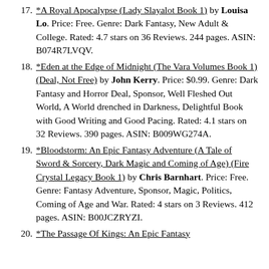17. *A Royal Apocalypse (Lady Slayalot Book 1) by Louisa Lo. Price: Free. Genre: Dark Fantasy, New Adult & College. Rated: 4.7 stars on 36 Reviews. 244 pages. ASIN: B074R7LVQV.
18. *Eden at the Edge of Midnight (The Vara Volumes Book 1) (Deal, Not Free) by John Kerry. Price: $0.99. Genre: Dark Fantasy and Horror Deal, Sponsor, Well Fleshed Out World, A World drenched in Darkness, Delightful Book with Good Writing and Good Pacing. Rated: 4.1 stars on 32 Reviews. 390 pages. ASIN: B009WG274A.
19. *Bloodstorm: An Epic Fantasy Adventure (A Tale of Sword & Sorcery, Dark Magic and Coming of Age) (Fire Crystal Legacy Book 1) by Chris Barnhart. Price: Free. Genre: Fantasy Adventure, Sponsor, Magic, Politics, Coming of Age and War. Rated: 4 stars on 3 Reviews. 412 pages. ASIN: B00JCZRYZI.
20. *The Passage Of Kings: An Epic Fantasy